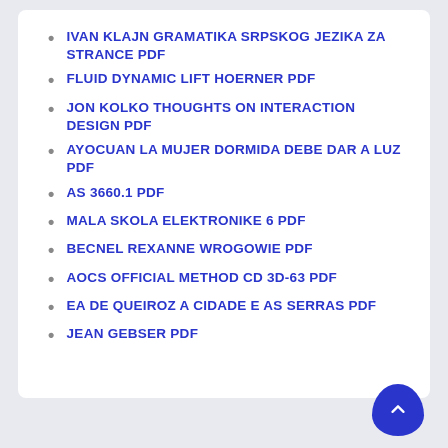IVAN KLAJN GRAMATIKA SRPSKOG JEZIKA ZA STRANCE PDF
FLUID DYNAMIC LIFT HOERNER PDF
JON KOLKO THOUGHTS ON INTERACTION DESIGN PDF
AYOCUAN LA MUJER DORMIDA DEBE DAR A LUZ PDF
AS 3660.1 PDF
MALA SKOLA ELEKTRONIKE 6 PDF
BECNEL REXANNE WROGOWIE PDF
AOCS OFFICIAL METHOD CD 3D-63 PDF
EA DE QUEIROZ A CIDADE E AS SERRAS PDF
JEAN GEBSER PDF